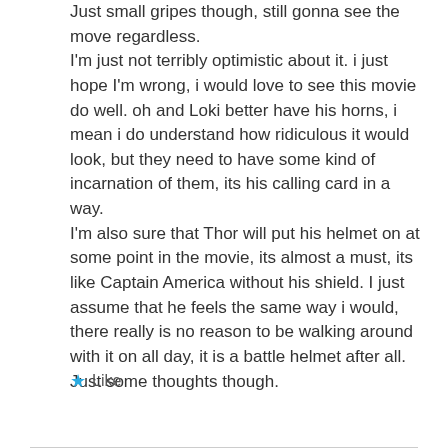Just small gripes though, still gonna see the move regardless. I'm just not terribly optimistic about it. i just hope I'm wrong, i would love to see this movie do well. oh and Loki better have his horns, i mean i do understand how ridiculous it would look, but they need to have some kind of incarnation of them, its his calling card in a way. I'm also sure that Thor will put his helmet on at some point in the movie, its almost a must, its like Captain America without his shield. I just assume that he feels the same way i would, there really is no reason to be walking around with it on all day, it is a battle helmet after all. Just some thoughts though.
Like